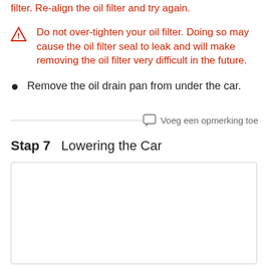filter. Re-align the oil filter and try again.
Do not over-tighten your oil filter. Doing so may cause the oil filter seal to leak and will make removing the oil filter very difficult in the future.
Remove the oil drain pan from under the car.
Voeg een opmerking toe
Stap 7   Lowering the Car
[Figure (photo): Empty image box placeholder for Stap 7 Lowering the Car]